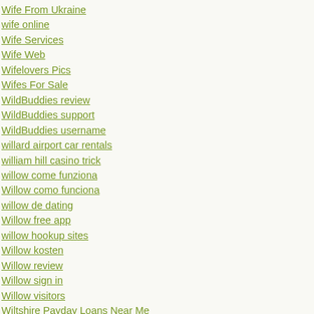Wife From Ukraine
wife online
Wife Services
Wife Web
Wifelovers Pics
Wifes For Sale
WildBuddies review
WildBuddies support
WildBuddies username
willard airport car rentals
william hill casino trick
willow come funziona
Willow como funciona
willow de dating
Willow free app
willow hookup sites
Willow kosten
Willow review
Willow sign in
Willow visitors
Wiltshire Payday Loans Near Me
Windows Drivers
Windows Drivers Free Download
Windows Errors
Windows Software